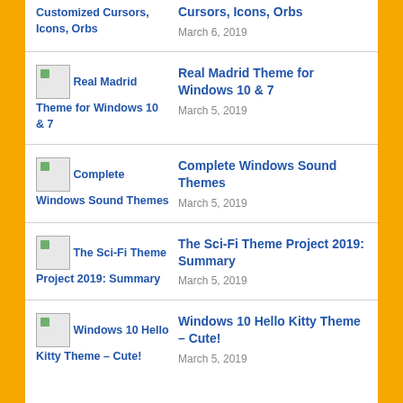Customized Cursors, Icons, Orbs — Cursors, Icons, Orbs — March 6, 2019
Real Madrid Theme for Windows 10 & 7 — March 5, 2019
Complete Windows Sound Themes — March 5, 2019
The Sci-Fi Theme Project 2019: Summary — March 5, 2019
Windows 10 Hello Kitty Theme – Cute! — March 5, 2019